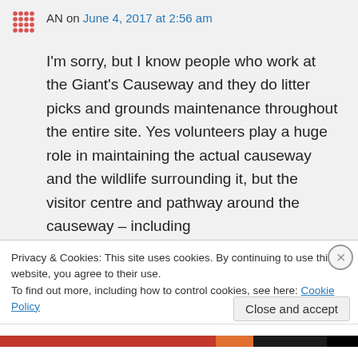[Figure (logo): Red dotted grid avatar icon]
AN on June 4, 2017 at 2:56 am
I'm sorry, but I know people who work at the Giant's Causeway and they do litter picks and grounds maintenance throughout the entire site. Yes volunteers play a huge role in maintaining the actual causeway and the wildlife surrounding it, but the visitor centre and pathway around the causeway – including
Privacy & Cookies: This site uses cookies. By continuing to use this website, you agree to their use.
To find out more, including how to control cookies, see here: Cookie Policy
Close and accept